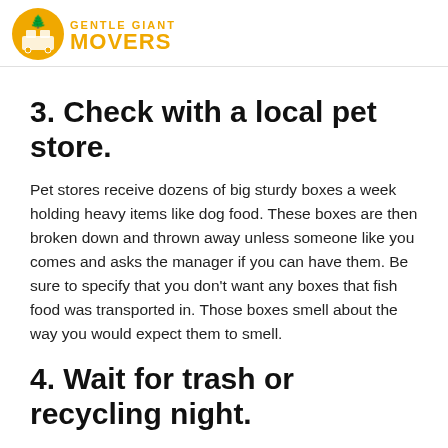GENTLE GIANT MOVERS
3. Check with a local pet store.
Pet stores receive dozens of big sturdy boxes a week holding heavy items like dog food. These boxes are then broken down and thrown away unless someone like you comes and asks the manager if you can have them. Be sure to specify that you don't want any boxes that fish food was transported in. Those boxes smell about the way you would expect them to smell.
4. Wait for trash or recycling night.